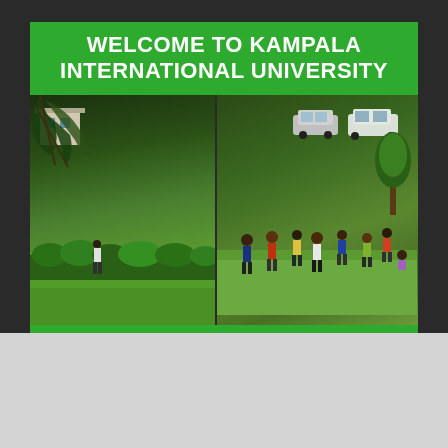WELCOME TO KAMPALA INTERNATIONAL UNIVERSITY
[Figure (photo): Campus photo showing green lawns, pathways, trees, parked vehicles and students walking on the Kampala International University campus]
APPLY NOW! Registration for 2022 intake Open
[Figure (logo): KIU - Kampala International University logo with giraffe icon and text, website www.kiu.ac.ug]